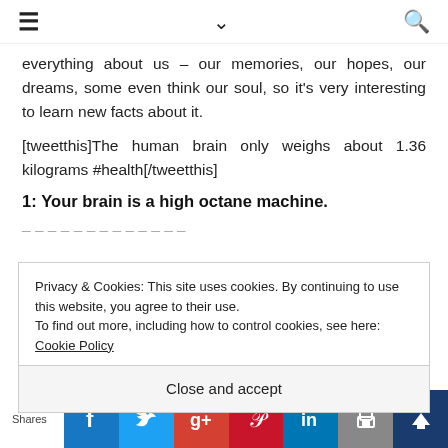≡  ∨  🔍
everything about us – our memories, our hopes, our dreams, some even think our soul, so it's very interesting to learn new facts about it.
[tweetthis]The human brain only weighs about 1.36 kilograms #health[/tweetthis]
1: Your brain is a high octane machine.
Privacy & Cookies: This site uses cookies. By continuing to use this website, you agree to their use.
To find out more, including how to control cookies, see here: Cookie Policy
Close and accept